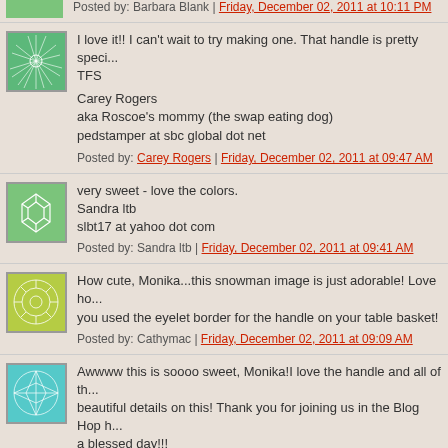Posted by: Barbara Blank | Friday, December 02, 2011 at 10:11 PM (partial, cropped)
I love it!! I can't wait to try making one. That handle is pretty speci... TFS
Carey Rogers
aka Roscoe's mommy (the swap eating dog)
pedstamper at sbc global dot net
Posted by: Carey Rogers | Friday, December 02, 2011 at 09:47 AM
very sweet - love the colors.
Sandra ltb
slbt17 at yahoo dot com
Posted by: Sandra ltb | Friday, December 02, 2011 at 09:41 AM
How cute, Monika...this snowman image is just adorable! Love ho... you used the eyelet border for the handle on your table basket!
Posted by: Cathymac | Friday, December 02, 2011 at 09:09 AM
Awwww this is soooo sweet, Monika!I love the handle and all of th... beautiful details on this! Thank you for joining us in the Blog Hop h... a blessed day!!!
Posted by: Chrissy Dickinson | Friday, December 02, 2011 at 08:57 AM